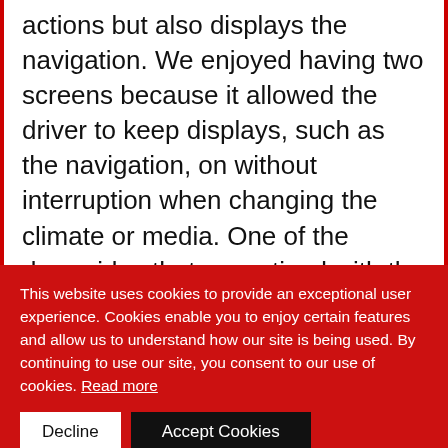actions but also displays the navigation. We enjoyed having two screens because it allowed the driver to keep displays, such as the navigation, on without interruption when changing the climate or media. One of the downsides that we noticed with the new layout was that tasks that were
This website uses cookies to provide an exceptional user experience. Cookies enable you to enjoy certain features and allow us to understand how our site is being used. By continuing to use our site, you consent to our use of cookies. Read more
Decline
Accept Cookies
always appreciate when we see a style